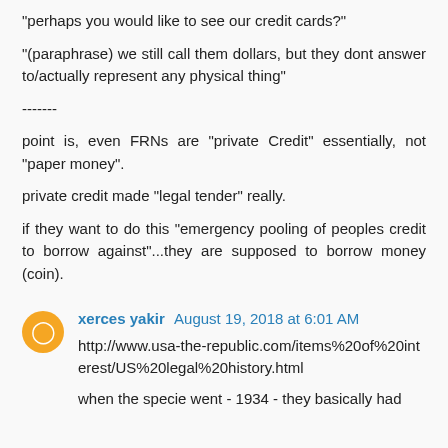"perhaps you would like to see our credit cards?"
"(paraphrase) we still call them dollars, but they dont answer to/actually represent any physical thing"
-------
point is, even FRNs are "private Credit" essentially, not "paper money".
private credit made "legal tender" really.
if they want to do this "emergency pooling of peoples credit to borrow against"...they are supposed to borrow money (coin).
xerces yakir  August 19, 2018 at 6:01 AM
http://www.usa-the-republic.com/items%20of%20interest/US%20legal%20history.html
when the specie went - 1934 - they basically had